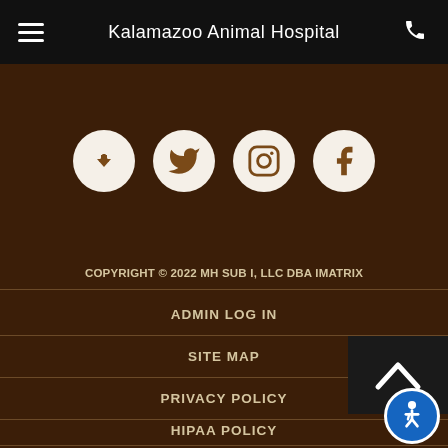Kalamazoo Animal Hospital
[Figure (other): Social media icons row: scroll-up/Angi icon, Twitter bird, Instagram camera, Facebook f — all white icons on cream/off-white circles on dark brown background]
COPYRIGHT © 2022 MH SUB I, LLC DBA IMATRIX
ADMIN LOG IN
SITE MAP
PRIVACY POLICY
HIPAA POLICY
TERMS OF USE